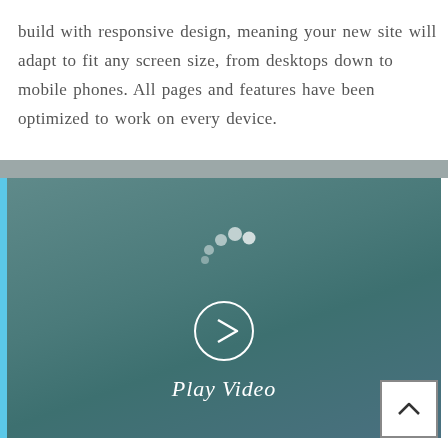build with responsive design, meaning your new site will adapt to fit any screen size, from desktops down to mobile phones. All pages and features have been optimized to work on every device.
[Figure (screenshot): A video thumbnail with a teal/slate gradient background, a loading spinner animation at the top center, a circular play button in the middle, and italic white 'Play Video' text below it. A blue accent bar runs along the left edge. A gray bar sits at the top. A scroll-to-top button (caret up) appears in the bottom-right corner.]